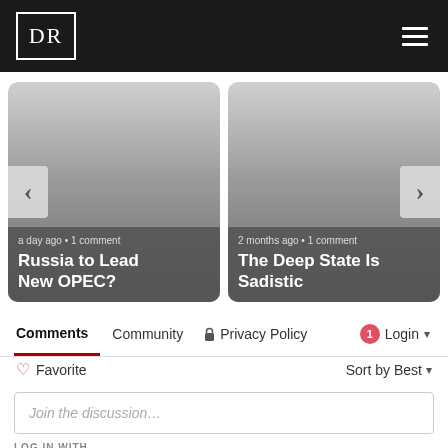DR
[Figure (screenshot): Article card showing 'Russia to Lead New OPEC?' with carousel left arrow, metadata: a day ago · 1 comment]
[Figure (screenshot): Article card showing 'The Deep State Is Sadistic' with carousel right arrow, metadata: 2 months ago · 1 comment]
Comments  Community  🔒 Privacy Policy  1 Login
♡ Favorite   Sort by Best
Join the discussion…
LOG IN WITH